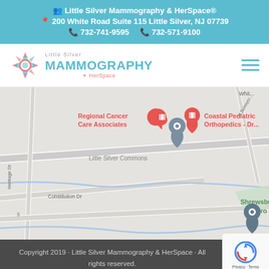Little Silver Mammography & HerSpace® | 200 White Road Suite 115 Little Silver, NJ 07739 | 732-741-9595 | 732-571-9100
[Figure (logo): Little Silver Mammography & HerSpace logo with snowflake/flower icon]
[Figure (map): Google Maps view of Little Silver area showing Regional Cancer Care Associates, Coastal Pediatric Orthopedics, Little Silver Commons, Shrewsbury Boro, Autism MVP Foundation markers]
Copyright 2019 · Little Silver Mammography & HerSpace · All rights reserved.